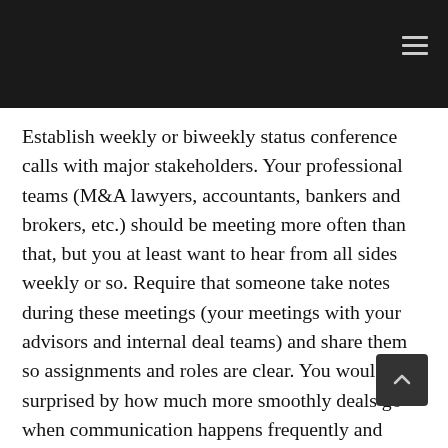Establish weekly or biweekly status conference calls with major stakeholders. Your professional teams (M&A lawyers, accountants, bankers and brokers, etc.) should be meeting more often than that, but you at least want to hear from all sides weekly or so. Require that someone take notes during these meetings (your meetings with your advisors and internal deal teams) and share them so assignments and roles are clear. You would be surprised by how much more smoothly deals go when communication happens frequently and reliably. Frequent communication stabilizes the process by focusing and energizing participants rather than leaving them confused and perplexed, which is what they will be